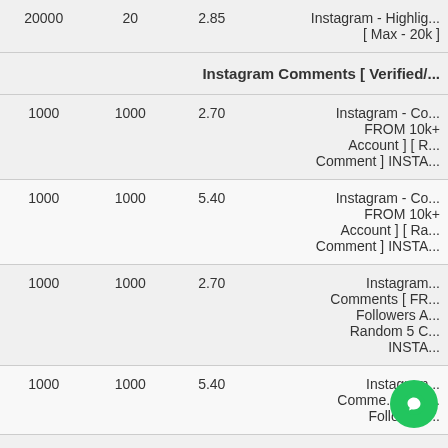| Min | Max | Price | Name |
| --- | --- | --- | --- |
| 20000 | 20 | 2.85 | Instagram - Highlight [ Max - 20k ] |
|  |  |  | Instagram Comments [ Verified/... |
| 1000 | 1000 | 2.70 | Instagram - Co... FROM 10k+ Account ] [ R... Comment ] INSTA... |
| 1000 | 1000 | 5.40 | Instagram - Co... FROM 10k+ Account ] [ Ra... Comment ] INSTA... |
| 1000 | 1000 | 2.70 | Instagram... Comments [ FR... Followers A... Random 5 C... INSTA... |
| 1000 | 1000 | 5.40 | Instagram... Comme... [ FR... Followers... |